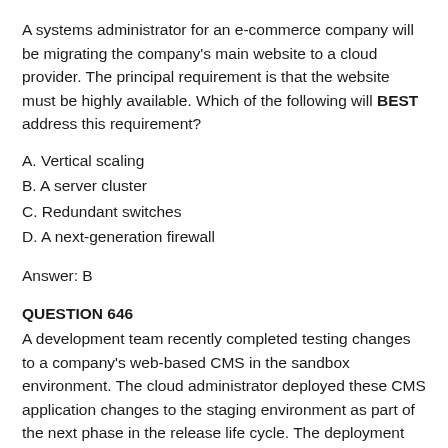A systems administrator for an e-commerce company will be migrating the company's main website to a cloud provider. The principal requirement is that the website must be highly available. Which of the following will BEST address this requirement?
A. Vertical scaling
B. A server cluster
C. Redundant switches
D. A next-generation firewall
Answer: B
QUESTION 646
A development team recently completed testing changes to a company's web-based CMS in the sandbox environment. The cloud administrator deployed these CMS application changes to the staging environment as part of the next phase in the release life cycle. The deployment was successful, but after deploying the CMS application, the